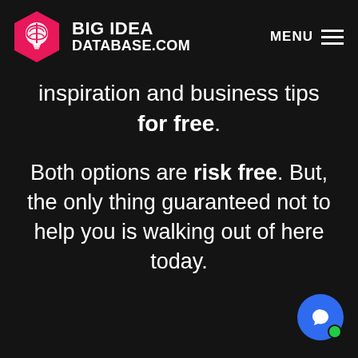[Figure (logo): Big Idea Database.com logo with hexagonal brain/lightbulb icon in pink/magenta and white text reading BIG IDEA DATABASE.COM, with MENU and hamburger icon on the right]
inspiration and business tips for free.
Both options are risk free. But, the only thing guaranteed not to help you is walking out of here today.